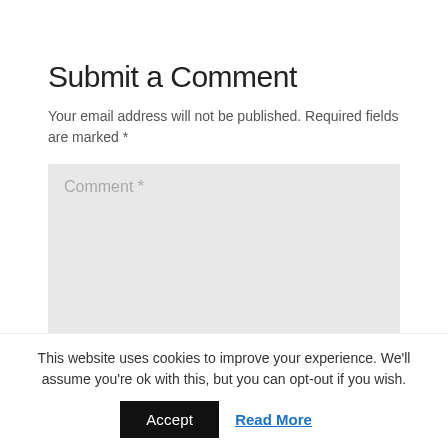Submit a Comment
Your email address will not be published. Required fields are marked *
[Figure (screenshot): Comment text area input field with placeholder text 'Comment *' on a light gray background with a resize handle in the bottom right corner]
This website uses cookies to improve your experience. We'll assume you're ok with this, but you can opt-out if you wish.
Accept   Read More